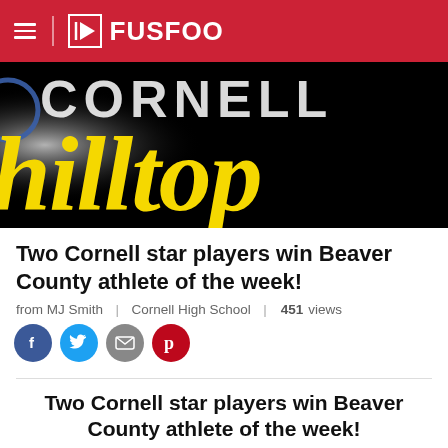FUSFOO
[Figure (photo): Black background image with yellow cursive text 'hilltop' and white/blue text 'CORNELL' partially visible]
Two Cornell star players win Beaver County athlete of the week!
from MJ Smith | Cornell High School | 451 views
[Figure (infographic): Social sharing buttons: Facebook (blue circle), Twitter (blue circle), Email (grey circle), Pinterest (red circle)]
Two Cornell star players win Beaver County athlete of the week!